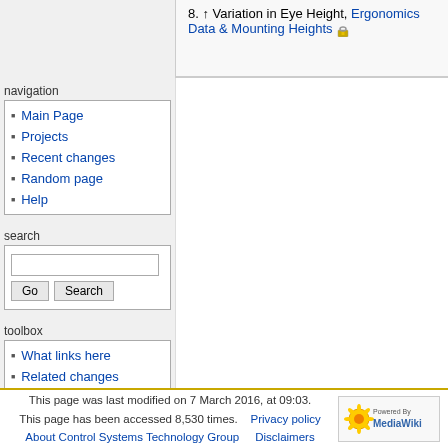8. ↑ Variation in Eye Height, Ergonomics Data & Mounting Heights 🔒
navigation
Main Page
Projects
Recent changes
Random page
Help
search
toolbox
What links here
Related changes
Special pages
Printable version
Permanent link
This page was last modified on 7 March 2016, at 09:03. This page has been accessed 8,530 times. Privacy policy  About Control Systems Technology Group  Disclaimers